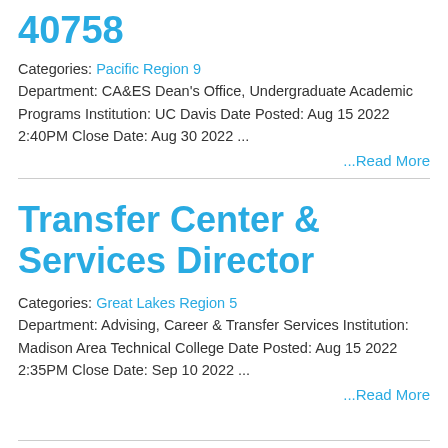40758
Categories: Pacific Region 9 Department: CA&ES Dean's Office, Undergraduate Academic Programs Institution: UC Davis Date Posted: Aug 15 2022 2:40PM Close Date: Aug 30 2022 ...
...Read More
Transfer Center & Services Director
Categories: Great Lakes Region 5 Department: Advising, Career & Transfer Services Institution: Madison Area Technical College Date Posted: Aug 15 2022 2:35PM Close Date: Sep 10 2022 ...
...Read More